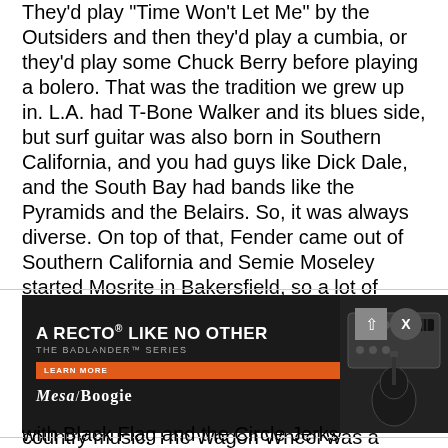They'd play 'Time Won't Let Me' by the Outsiders and then they'd play a cumbia, or they'd play some Chuck Berry before playing a bolero. That was the tradition we grew up in. L.A. had T-Bone Walker and its blues side, but surf guitar was also born in Southern California, and you had guys like Dick Dale, and the South Bay had bands like the Pyramids and the Belairs. So, it was always diverse. On top of that, Fender came out of Southern California and Semie Moseley started Mosrite in Bakersfield, so a lot of pioneering guitar makers were from the L.A. area and it was just part of the culture. The city was different back then, too. Neighborhoods that are Black or Latino now used to be ranches, and there was lots of country music. The Wagon Wheel was a place owned by Joe Maphis in Norwalk, and you had honky-tonks 10 miles away from blues clubs where Bobby Bland was playing."
[Figure (infographic): Mesa/Boogie advertisement: 'A RECTO LIKE NO OTHER - THE BADLANDER SERIES' with a LEARN MORE button, Mesa/Boogie logo, and photo of guitar amplifier head with guitar]
with Black Flag and the Circle Jerks